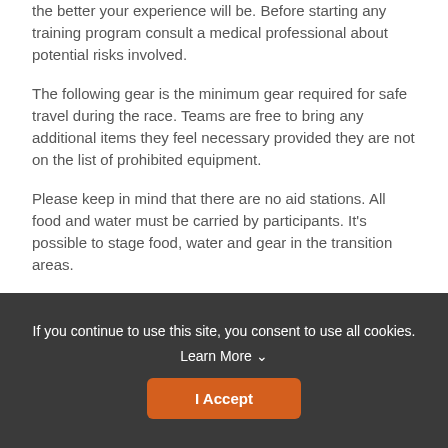the better your experience will be. Before starting any training program consult a medical professional about potential risks involved.
The following gear is the minimum gear required for safe travel during the race. Teams are free to bring any additional items they feel necessary provided they are not on the list of prohibited equipment.
Please keep in mind that there are no aid stations. All food and water must be carried by participants. It's possible to stage food, water and gear in the transition areas.
Team Gear - to be shared during the race (or mandatory for solo racers)
If you continue to use this site, you consent to use all cookies. Learn More ∨
I Accept